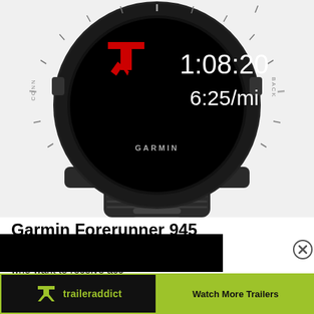[Figure (photo): Garmin Forerunner 945 GPS running watch in black, showing watch face with time 1:08:20 and pace 6:25/mi, with red Garmin logo. Watch band visible at bottom.]
Garmin Forerunner 945
The Forerunner 945 is th... who want to receive acc... analyze and improve pe... pability will a...
[Figure (screenshot): traileraddict advertisement overlay with black background, close button (X in circle) at top right, and bottom bar with traileraddict logo and 'Watch More Trailers' button]